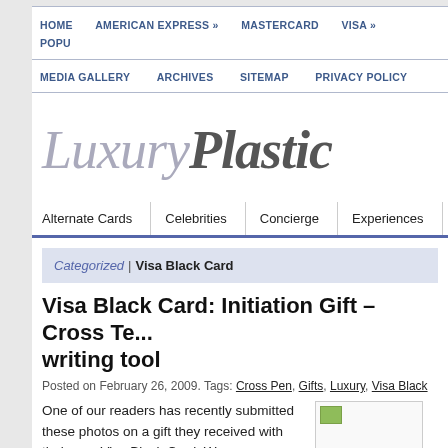HOME   AMERICAN EXPRESS »   MASTERCARD   VISA »   POPU...
MEDIA GALLERY   ARCHIVES   SITEMAP   PRIVACY POLICY
[Figure (logo): LuxuryPlastic website logo in large italic serif font, grey and dark grey tones]
Alternate Cards   Celebrities   Concierge   Experiences   Fe...
Categorized | Visa Black Card
Visa Black Card: Initiation Gift – Cross Te... writing tool
Posted on February 26, 2009. Tags: Cross Pen, Gifts, Luxury, Visa Black
One of our readers has recently submitted these photos on a gift they received with their new Visa Black Card. We are assuming that this is just the initation gift, and that users that spend more over time will get more "luxurious gifts" as...